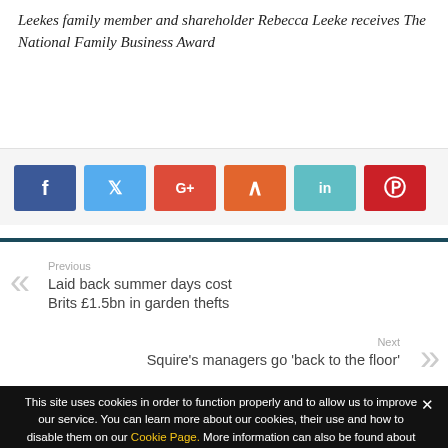Leekes family member and shareholder Rebecca Leeke receives The National Family Business Award
[Figure (other): Social sharing buttons: Facebook (blue), Twitter (light blue), Google+ (red), StumbleUpon (orange), LinkedIn (teal), Pinterest (red)]
Previous
Laid back summer days cost Brits £1.5bn in garden thefts
Next
Squire's managers go 'back to the floor'
This site uses cookies in order to function properly and to allow us to improve our service. You can learn more about our cookies, their use and how to disable them on our Cookie Page. More information can also be found about our website within our Privacy Policy and Terms & Conditions.